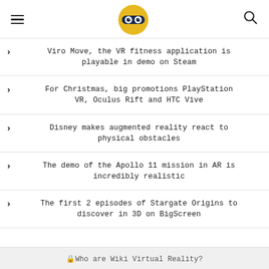[hamburger menu] [logo: Wiki Virtual Reality] [search icon]
Viro Move, the VR fitness application is playable in demo on Steam
For Christmas, big promotions PlayStation VR, Oculus Rift and HTC Vive
Disney makes augmented reality react to physical obstacles
The demo of the Apollo 11 mission in AR is incredibly realistic
The first 2 episodes of Stargate Origins to discover in 3D on BigScreen
🔒Who are Wiki Virtual Reality?